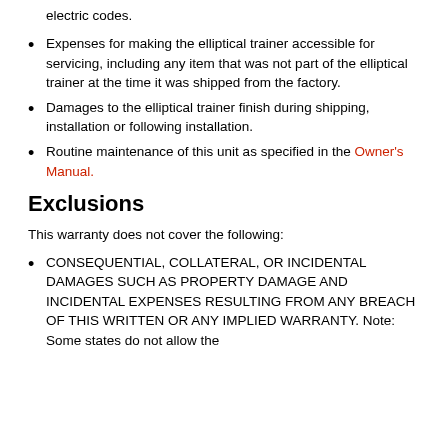electric codes.
Expenses for making the elliptical trainer accessible for servicing, including any item that was not part of the elliptical trainer at the time it was shipped from the factory.
Damages to the elliptical trainer finish during shipping, installation or following installation.
Routine maintenance of this unit as specified in the Owner's Manual.
Exclusions
This warranty does not cover the following:
CONSEQUENTIAL, COLLATERAL, OR INCIDENTAL DAMAGES SUCH AS PROPERTY DAMAGE AND INCIDENTAL EXPENSES RESULTING FROM ANY BREACH OF THIS WRITTEN OR ANY IMPLIED WARRANTY. Note: Some states do not allow the